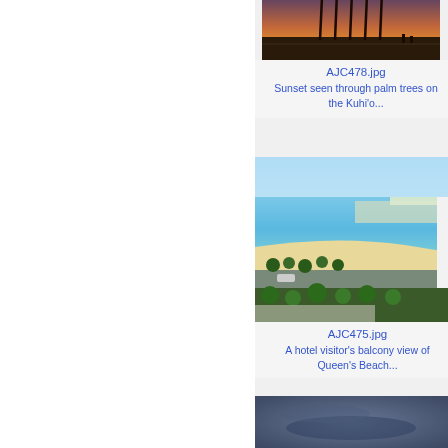[Figure (photo): Sunset seen through palm trees on the Kuhio beach area, warm orange sky]
AJC478.jpg
Sunset seen through palm trees on the Kuhi'o...
[Figure (photo): Aerial hotel visitor's balcony view of Queen's Beach with turquoise water, sandy beach, palm trees and road]
AJC475.jpg
A hotel visitor's balcony view of Queen's Beach...
[Figure (photo): Partial view of a dark blue/grey blurry image, possibly ocean or sky]